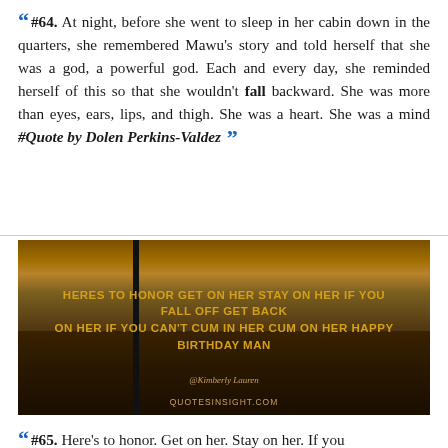#64. At night, before she went to sleep in her cabin down in the quarters, she remembered Mawu's story and told herself that she was a god, a powerful god. Each and every day, she reminded herself of this so that she wouldn't fall backward. She was more than eyes, ears, lips, and thigh. She was a heart. She was a mind #Quote by Dolen Perkins-Valdez
[Figure (photo): A dark ocean sunset scene with a pole/post silhouetted against an amber/orange sky. Yellow text overlay reads: HERES TO HONOR GET ON HER STAY ON HER IF YOU FALL OFF GET BACK ON HER IF YOU CAN'T CUM IN HER CUM ON HER HAPPY BIRTHDAY MAN. Credit: @Kimberly Lauren. URL: QUOTESINSIGHT.COM]
#65. Here's to honor. Get on her. Stay on her. If you